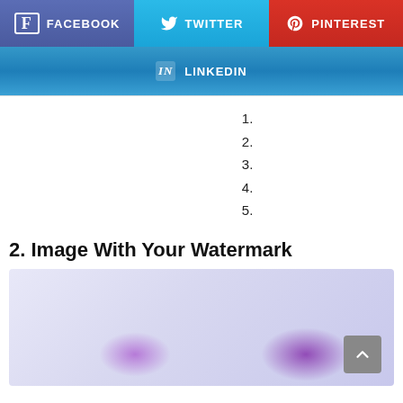[Figure (other): Social media share buttons row: Facebook (purple), Twitter (blue), Pinterest (red)]
[Figure (other): LinkedIn share button (blue gradient, full width)]
1.
2.
3.
4.
5.
2. Image With Your Watermark
[Figure (illustration): A light purple/lavender background image with blurred purple and violet blob shapes near the bottom, suggesting a watermark image placeholder]